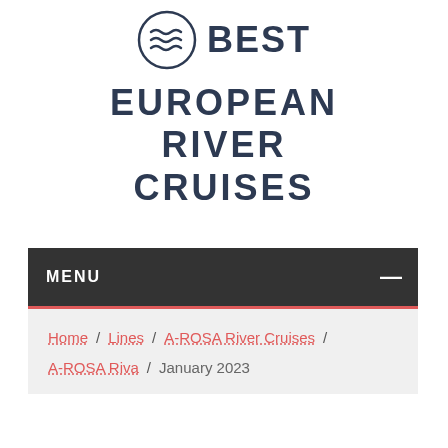[Figure (logo): Best European River Cruises logo: circle with three wave lines and bold text BEST to the right]
BEST EUROPEAN RIVER CRUISES
MENU
Home / Lines / A-ROSA River Cruises / A-ROSA Riva / January 2023